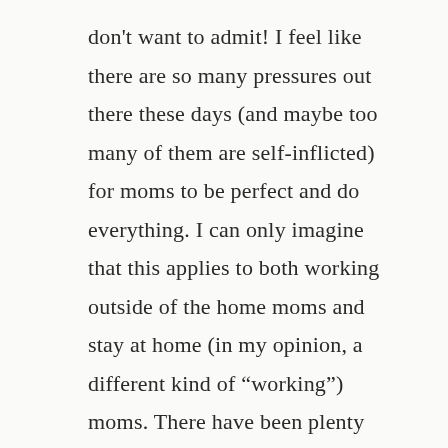don't want to admit! I feel like there are so many pressures out there these days (and maybe too many of them are self-inflicted) for moms to be perfect and do everything. I can only imagine that this applies to both working outside of the home moms and stay at home (in my opinion, a different kind of “working”) moms. There have been plenty